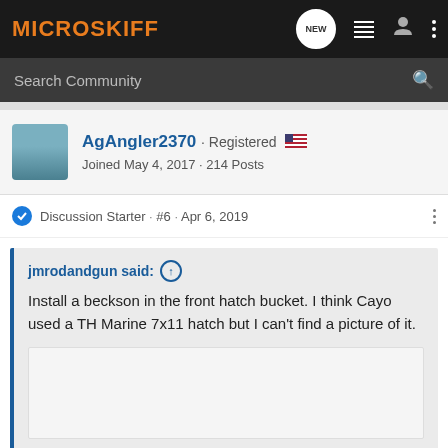MICROSKIFF
Search Community
AgAngler2370 · Registered
Joined May 4, 2017 · 214 Posts
Discussion Starter · #6 · Apr 6, 2019
jmrodandgun said: ↑
Install a beckson in the front hatch bucket. I think Cayo used a TH Marine 7x11 hatch but I can't find a picture of it.
Click to expand...